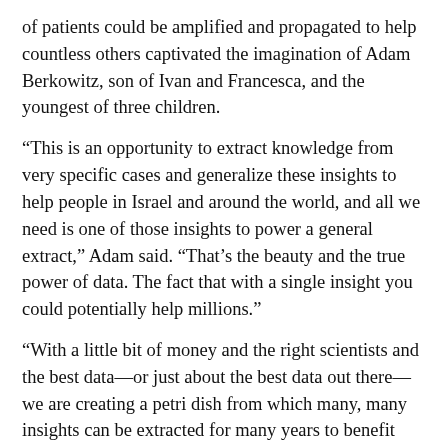of patients could be amplified and propagated to help countless others captivated the imagination of Adam Berkowitz, son of Ivan and Francesca, and the youngest of three children.
“This is an opportunity to extract knowledge from very specific cases and generalize these insights to help people in Israel and around the world, and all we need is one of those insights to power a general extract,” Adam said. “That’s the beauty and the true power of data. The fact that with a single insight you could potentially help millions.”
“With a little bit of money and the right scientists and the best data—or just about the best data out there—we are creating a petri dish from which many, many insights can be extracted for many years to benefit everybody,” he added.
The vision and excitement are echoed by Adam’s siblings, Elizabeth Lewinsohn and Eric Berkowitz, who is the oldest of the three.
“The rewards of this innovative collaboration for global health care could be immense,” Elizabeth said.